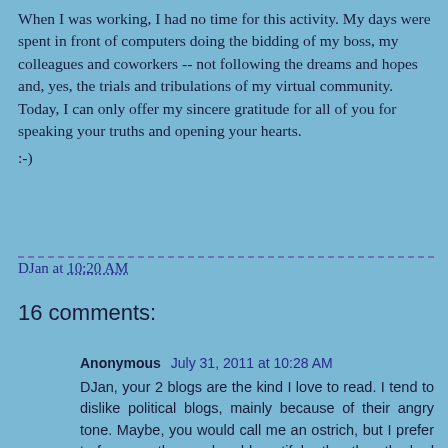When I was working, I had no time for this activity. My days were spent in front of computers doing the bidding of my boss, my colleagues and coworkers -- not following the dreams and hopes and, yes, the trials and tribulations of my virtual community. Today, I can only offer my sincere gratitude for all of you for speaking your truths and opening your hearts.
:-)
DJan at 10:20 AM
16 comments:
Anonymous July 31, 2011 at 10:28 AM
DJan, your 2 blogs are the kind I love to read. I tend to dislike political blogs, mainly because of their angry tone. Maybe, you would call me an ostrich, but I prefer to focus on the good and beautiful rather than the bad and ugly. It's just me in paradise.